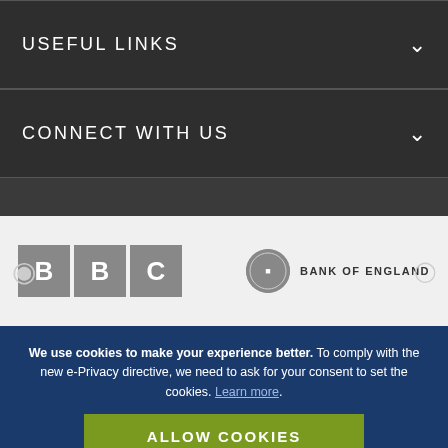USEFUL LINKS
CONNECT WITH US
[Figure (logo): BBC logo (three grey blocks with B, B, C in white) and Bank of England logo (circular emblem with text BANK OF ENGLAND)]
We use cookies to make your experience better. To comply with the new e-Privacy directive, we need to ask for your consent to set the cookies. Learn more.
ALLOW COOKIES